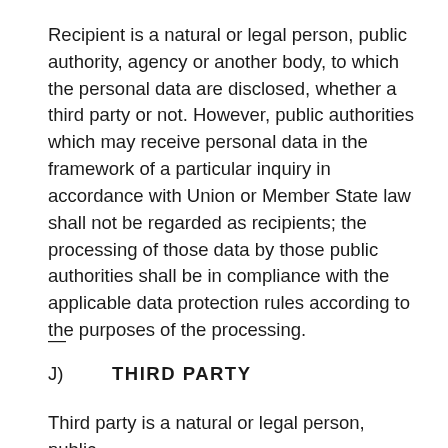Recipient is a natural or legal person, public authority, agency or another body, to which the personal data are disclosed, whether a third party or not. However, public authorities which may receive personal data in the framework of a particular inquiry in accordance with Union or Member State law shall not be regarded as recipients; the processing of those data by those public authorities shall be in compliance with the applicable data protection rules according to the purposes of the processing.
—
J)    THIRD PARTY
Third party is a natural or legal person, public